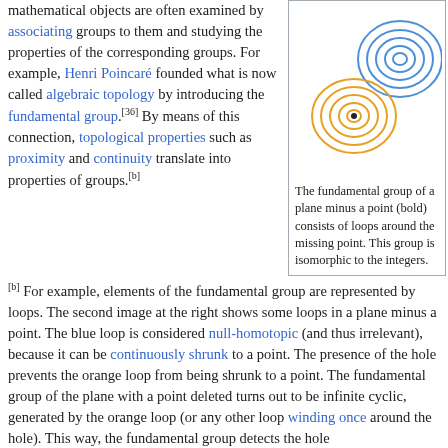mathematical objects are often examined by associating groups to them and studying the properties of the corresponding groups. For example, Henri Poincaré founded what is now called algebraic topology by introducing the fundamental group.[36] By means of this connection, topological properties such as proximity and continuity translate into properties of groups.[b]
[Figure (illustration): Diagram showing loops in a plane minus a point. Blue concentric loops in upper right area and orange concentric spiral loops centered on a black dot. Illustrates the fundamental group of a plane minus a point.]
The fundamental group of a plane minus a point (bold) consists of loops around the missing point. This group is isomorphic to the integers.
For example, elements of the fundamental group are represented by loops. The second image at the right shows some loops in a plane minus a point. The blue loop is considered null-homotopic (and thus irrelevant), because it can be continuously shrunk to a point. The presence of the hole prevents the orange loop from being shrunk to a point. The fundamental group of the plane with a point deleted turns out to be infinite cyclic, generated by the orange loop (or any other loop winding once around the hole). This way, the fundamental group detects the hole